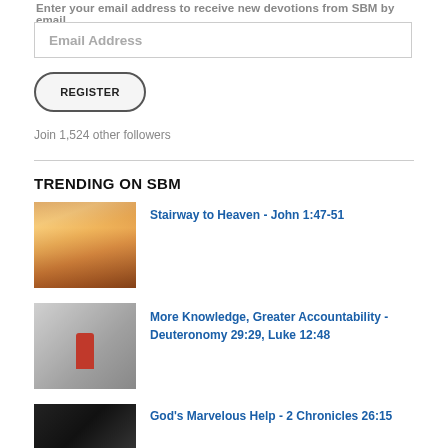Enter your email address to receive new devotions from SBM by email.
Email Address
REGISTER
Join 1,524 other followers
TRENDING ON SBM
[Figure (photo): Stairway to Heaven image showing illuminated golden staircase]
Stairway to Heaven - John 1:47-51
[Figure (photo): Red figure standing out among grey crowd of people]
More Knowledge, Greater Accountability - Deuteronomy 29:29, Luke 12:48
[Figure (photo): Dark image thumbnail]
God's Marvelous Help - 2 Chronicles 26:15